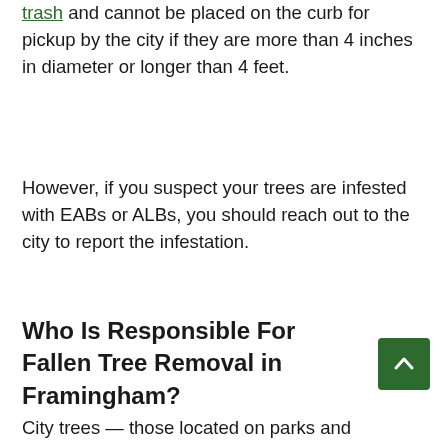trash and cannot be placed on the curb for pickup by the city if they are more than 4 inches in diameter or longer than 4 feet.
However, if you suspect your trees are infested with EABs or ALBs, you should reach out to the city to report the infestation.
Who Is Responsible For Fallen Tree Removal in Framingham?
City trees — those located on parks and